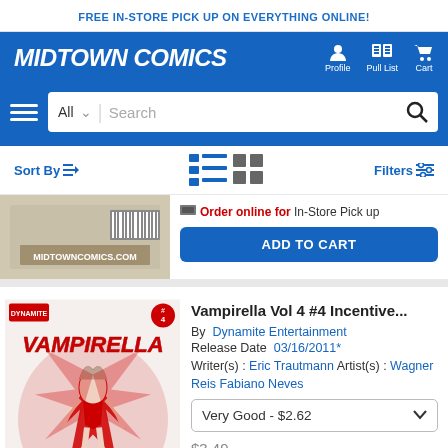FREE IN-STORE PICK UP ON EVERYTHING ONLINE!
[Figure (logo): Midtown Comics logo with navigation icons for Profile, Pull List, Cart on blue background]
[Figure (screenshot): Search bar with All dropdown and search field on blue background with hamburger menu]
Sort By  Filters
[Figure (photo): Partial product image showing midtowncomics.com barcode label]
Order online for In-Store Pick up
ADD TO CART
Vampirella Vol 4 #4 Incentive...
By Dynamite Entertainment
Release Date 03/16/2011*
Writer(s) : Eric Trautmann  Artist(s) : Wagner Reis Fabiano Neves
Very Good - $2.62
$3.49
$2.62
[Figure (illustration): Vampirella comic book cover Vol 4 #4 showing Vampirella character in red and white ink art style with Dynamite logo]